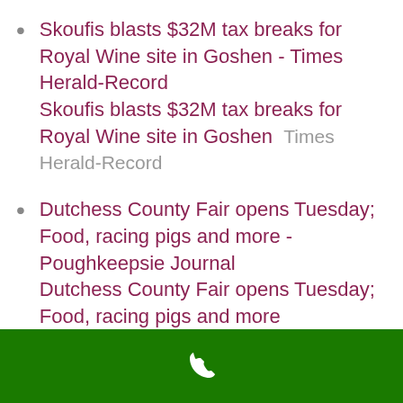Skoufis blasts $32M tax breaks for Royal Wine site in Goshen - Times Herald-Record Skoufis blasts $32M tax breaks for Royal Wine site in Goshen  Times Herald-Record
Dutchess County Fair opens Tuesday; Food, racing pigs and more - Poughkeepsie Journal Dutchess County Fair opens Tuesday; Food, racing pigs and more  Poughkeepsie Journal
What to watch: Top Democrats square off in Florida, New York - Spectrum News